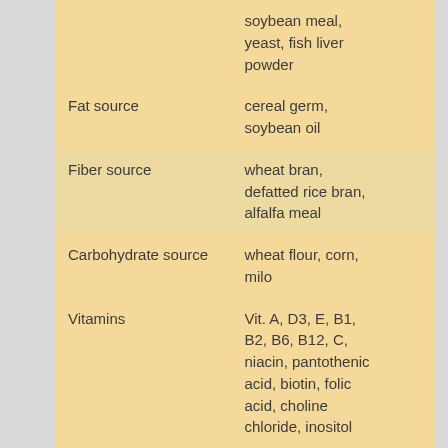| Category | Examples |
| --- | --- |
|  | soybean meal, yeast, fish liver powder |
| Fat source | cereal germ, soybean oil |
| Fiber source | wheat bran, defatted rice bran, alfalfa meal |
| Carbohydrate source | wheat flour, corn, milo |
| Vitamins | Vit. A, D3, E, B1, B2, B6, B12, C, niacin, pantothenic acid, biotin, folic acid, choline chloride, inositol |
| Minerals | calcium carbonate, salt, ferrous |